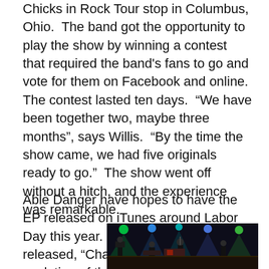Chicks in Rock Tour stop in Columbus, Ohio.  The band got the opportunity to play the show by winning a contest that required the band's fans to go and vote for them on Facebook and online.  The contest lasted ten days.  "We have been together two, maybe three months", says Willis.  "By the time the show came, we had five originals ready to go."  The show went off without a hitch, and the experience was remarkable.
Able Danger have hopes to have the EP released on iTunes around Labor Day this year.  The first song the band released, "Chaos" presents the evolution of the group's
[Figure (photo): Concert photo showing a band performing on stage with colorful stage lighting including green and blue lights, with multiple musicians visible against a dark background.]